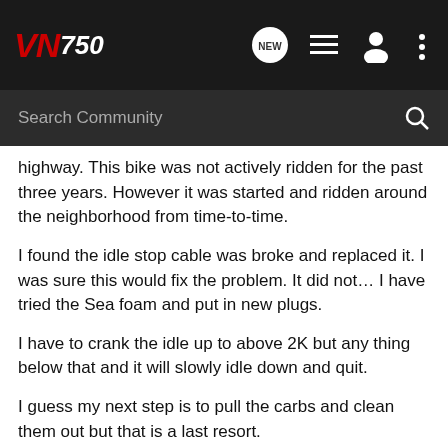VN750 community forum header with logo and navigation icons
highway. This bike was not actively ridden for the past three years. However it was started and ridden around the neighborhood from time-to-time.
I found the idle stop cable was broke and replaced it. I was sure this would fix the problem. It did not… I have tried the Sea foam and put in new plugs.
I have to crank the idle up to above 2K but any thing below that and it will slowly idle down and quit.
I guess my next step is to pull the carbs and clean them out but that is a last resort.
Any ideas?